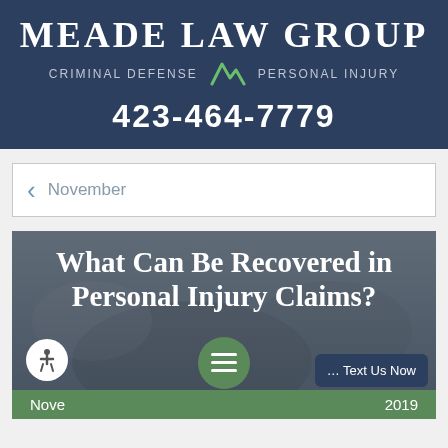Meade Law Group
Criminal Defense  Personal Injury
423-464-7779
< November
[Figure (screenshot): Article card with blurred background photo of hands writing, overlaid with white serif text reading 'What Can Be Recovered in Personal Injury Claims?' and a green date bar at the bottom showing 'Nove 2019'. Accessibility icon, hamburger menu button, and 'Text Us Now' button overlay the bottom.]
What Can Be Recovered in Personal Injury Claims?
November 2019